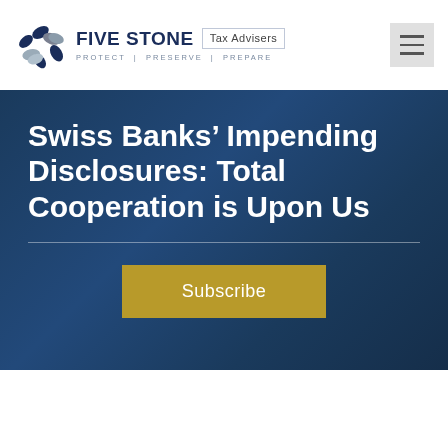FIVE STONE Tax Advisers — PROTECT | PRESERVE | PREPARE
Swiss Banks' Impending Disclosures: Total Cooperation is Upon Us
Subscribe